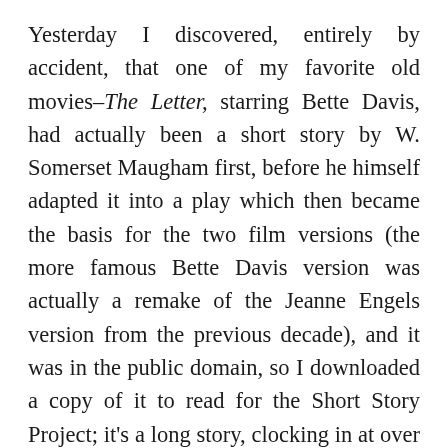Yesterday I discovered, entirely by accident, that one of my favorite old movies–The Letter, starring Bette Davis, had actually been a short story by W. Somerset Maugham first, before he himself adapted it into a play which then became the basis for the two film versions (the more famous Bette Davis version was actually a remake of the Jeanne Engels version from the previous decade), and it was in the public domain, so I downloaded a copy of it to read for the Short Story Project; it's a long story, clocking in at over 13,000 words, which in today's world I suppose would make it